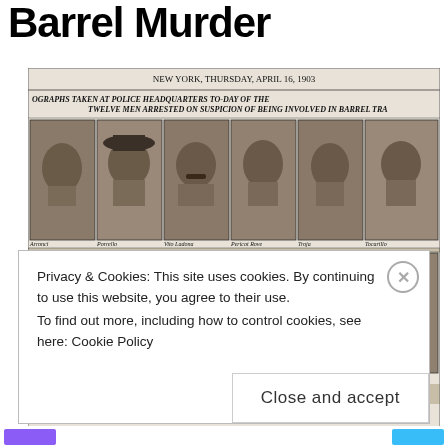Barrel Murder
[Figure (photo): Scanned newspaper clipping dated NEW YORK, THURSDAY, APRIL 16, 1903. Headline reads: 'PHOTOGRAPHS TAKEN AT POLICE HEADQUARTERS TO-DAY OF THE TWELVE MEN ARRESTED ON SUSPICION OF BEING INVOLVED IN BARREL TRA[GEDY]'. Shows a grid of 12 mug-shot-style photographs in two rows of six. Top row captions (left to right): [name], Porrello, Vito Ladona, Pericot Rove, Troja, Tocarillo. Bottom row captions: Gratto, Pacinaro, Vico Lobaldo, N. Supo, Lorenzolphono, Messina.]
Privacy & Cookies: This site uses cookies. By continuing to use this website, you agree to their use.
To find out more, including how to control cookies, see here: Cookie Policy
Close and accept